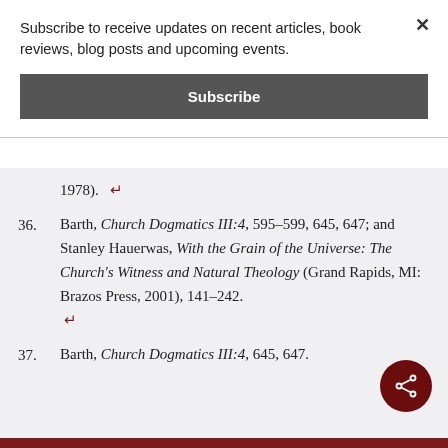Subscribe to receive updates on recent articles, book reviews, blog posts and upcoming events.
Subscribe
1978). ↵
36. Barth, Church Dogmatics III:4, 595–599, 645, 647; and Stanley Hauerwas, With the Grain of the Universe: The Church's Witness and Natural Theology (Grand Rapids, MI: Brazos Press, 2001), 141–242. ↵
37. Barth, Church Dogmatics III:4, 645, 647. ↵